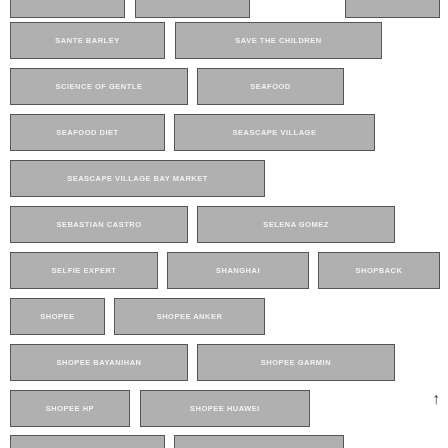SANTE BARLEY
SAVE THE CHILDREN
SCIENCE OF GENTLE
SEAFOOD
SEAFOOD DIET
SEASCAPE VILLAGE
SEASCAPE VILLAGE BAY MARKET
SEBASTIAN CASTRO
SELENA GOMEZ
SELFIE EXPERT
SHANGHAI
SHOPBACK
SHOPEE
SHOPEE ANKER
SHOPEE BAYANIHAN
SHOPEE GARMIN
SHOPEE HP
SHOPEE HUAWEI
SHOPEE INFINIX
SHOPEE OPPO
SHOPEE PISO DEALS
SHOPEE VIVO